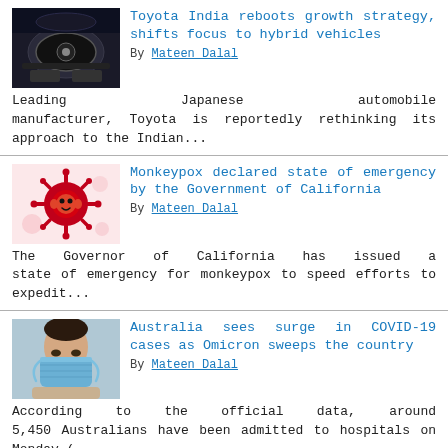[Figure (photo): Car interior dashboard photo (dark tones)]
Toyota India reboots growth strategy, shifts focus to hybrid vehicles
By Mateen Dalal
Leading Japanese automobile manufacturer, Toyota is reportedly rethinking its approach to the Indian...
[Figure (illustration): Monkeypox virus cartoon illustration with red spiky virus and monkey icon on pink background]
Monkeypox declared state of emergency by the Government of California
By Mateen Dalal
The Governor of California has issued a state of emergency for monkeypox to speed efforts to expedit...
[Figure (photo): Woman wearing blue surgical mask, COVID-19 related photo]
Australia sees surge in COVID-19 cases as Omicron sweeps the country
By Mateen Dalal
According to the official data, around 5,450 Australians have been admitted to hospitals on Monday (...